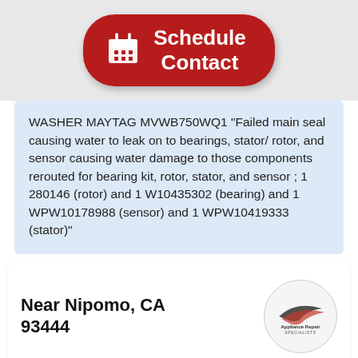[Figure (other): Red pill-shaped button with calendar icon and text 'Schedule Contact']
WASHER MAYTAG MVWB750WQ1 "Failed main seal causing water to leak on to bearings, stator/ rotor, and sensor causing water damage to those components rerouted for bearing kit, rotor, stator, and sensor ; 1 280146 (rotor) and 1 W10435302 (bearing) and 1 WPW10178988 (sensor) and 1 WPW10419333 (stator)"
Near Nipomo, CA 93444
[Figure (logo): Appliance Repair Specialists logo in a circle]